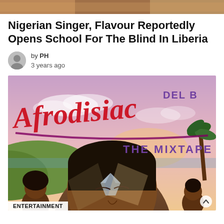[Figure (photo): Cropped top strip of another image above the article]
Nigerian Singer, Flavour Reportedly Opens School For The Blind In Liberia
by PH
3 years ago
[Figure (illustration): Album artwork for 'Afrodisiac The Mixtape' by Del B — stylized illustrated cover with tropical background and illustrated figures. Large script lettering 'Afrodisiac' in red/maroon, 'DEL B' in purple, 'THE MIXTAPE' in purple below.]
ENTERTAINMENT